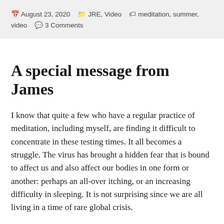August 23, 2020  JRE, Video  meditation, summer, video  3 Comments
A special message from James
I know that quite a few who have a regular practice of meditation, including myself, are finding it difficult to concentrate in these testing times. It all becomes a struggle. The virus has brought a hidden fear that is bound to affect us and also affect our bodies in one form or another: perhaps an all-over itching, or an increasing difficulty in sleeping. It is not surprising since we are all living in a time of rare global crisis.